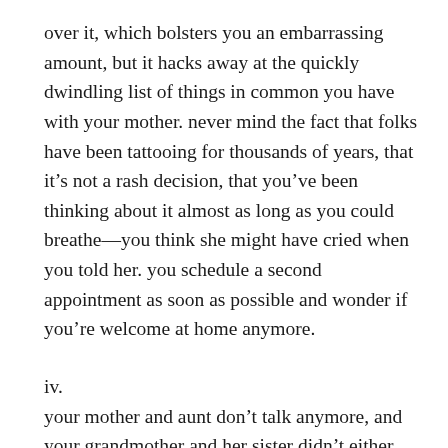over it, which bolsters you an embarrassing amount, but it hacks away at the quickly dwindling list of things in common you have with your mother. never mind the fact that folks have been tattooing for thousands of years, that it’s not a rash decision, that you’ve been thinking about it almost as long as you could breathe—you think she might have cried when you told her. you schedule a second appointment as soon as possible and wonder if you’re welcome at home anymore.
iv.
your mother and aunt don’t talk anymore, and your grandmother and her sister didn’t either. you wonder if you’re doomed to the same fate.